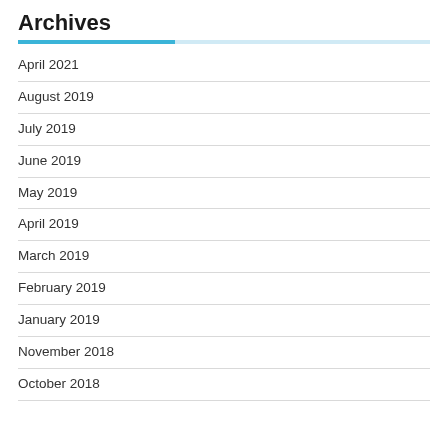Archives
April 2021
August 2019
July 2019
June 2019
May 2019
April 2019
March 2019
February 2019
January 2019
November 2018
October 2018